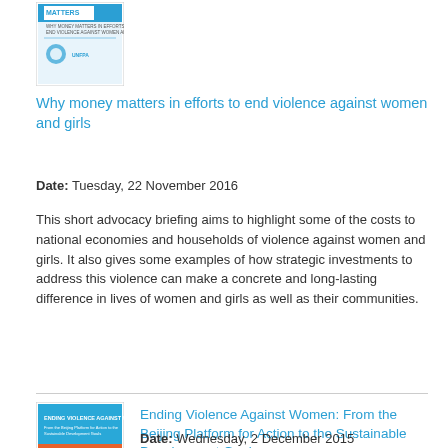[Figure (illustration): Book cover: Why money matters — ends violence against women and girls, UNFPA logo]
Why money matters in efforts to end violence against women and girls
Date: Tuesday, 22 November 2016
This short advocacy briefing aims to highlight some of the costs to national economies and households of violence against women and girls. It also gives some examples of how strategic investments to address this violence can make a concrete and long-lasting difference in lives of women and girls as well as their communities.
[Figure (illustration): Book cover: Ending Violence Against Women — From the Beijing Platform for Action to the Sustainable Development Goals, blue and orange cover]
Ending Violence Against Women: From the Beijing Platform for Action to the Sustainable Development Goals
Date: Wednesday, 2 December 2015